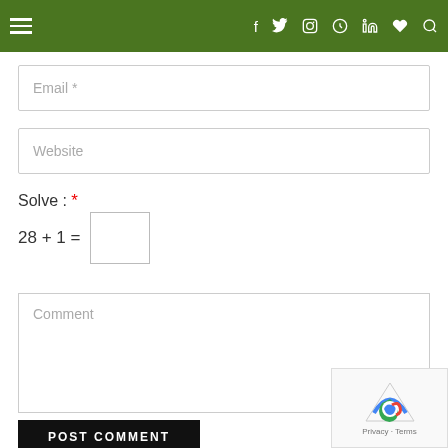Navigation bar with hamburger menu and social icons: f, twitter, instagram, pinterest, linkedin, heart, search
Email *
Website
Solve : *
Comment
POST COMMENT